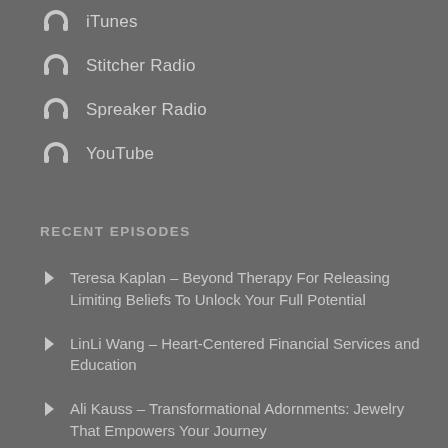iTunes
Stitcher Radio
Spreaker Radio
YouTube
RECENT EPISODES
Teresa Kaplan – Beyond Therapy For Releasing Limiting Beliefs To Unlock Your Full Potential
LinLi Wang – Heart-Centered Financial Services and Education
Ali Kauss – Transformational Adornments: Jewelry That Empowers Your Journey
Joy Willett – How To Navigate Challenging Times Through Mind & Heart Transformation